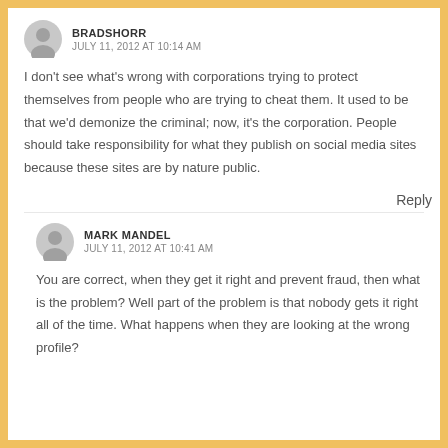BRADSHORR
JULY 11, 2012 AT 10:14 AM
I don't see what's wrong with corporations trying to protect themselves from people who are trying to cheat them. It used to be that we'd demonize the criminal; now, it's the corporation. People should take responsibility for what they publish on social media sites because these sites are by nature public.
Reply
MARK MANDEL
JULY 11, 2012 AT 10:41 AM
You are correct, when they get it right and prevent fraud, then what is the problem? Well part of the problem is that nobody gets it right all of the time. What happens when they are looking at the wrong profile?